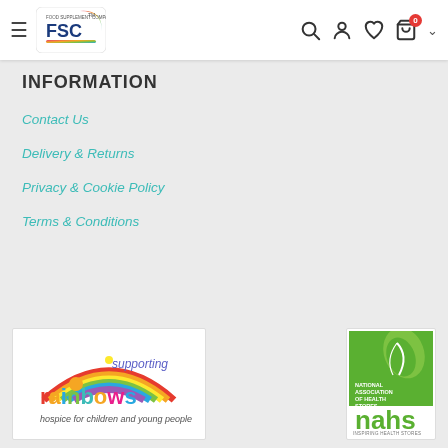[Figure (logo): FSC Food Supplement Company logo with hamburger menu icon on left side of navigation header]
[Figure (screenshot): Header navigation icons: search, user account, wishlist heart, shopping cart with 0 badge, and dropdown chevron]
INFORMATION
Contact Us
Delivery & Returns
Privacy & Cookie Policy
Terms & Conditions
[Figure (logo): Supporting Rainbows hospice for children and young people logo with colorful rainbow text]
[Figure (logo): National Association of Health Stores (nahs) green logo with leaf design and text Inspiring Health Stores]